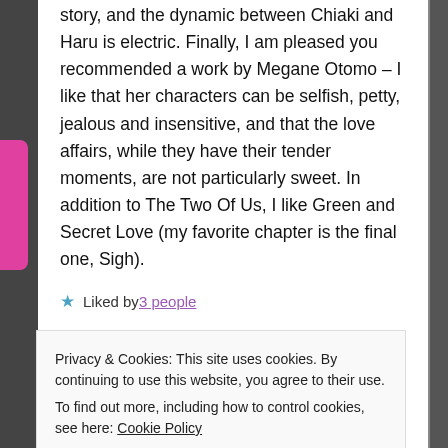story, and the dynamic between Chiaki and Haru is electric. Finally, I am pleased you recommended a work by Megane Otomo – I like that her characters can be selfish, petty, jealous and insensitive, and that the love affairs, while they have their tender moments, are not particularly sweet. In addition to The Two Of Us, I like Green and Secret Love (my favorite chapter is the final one, Sigh).
★ Liked by 3 people
Privacy & Cookies: This site uses cookies. By continuing to use this website, you agree to their use.
To find out more, including how to control cookies, see here: Cookie Policy
Close and accept
October 17, 2017 at 03:26